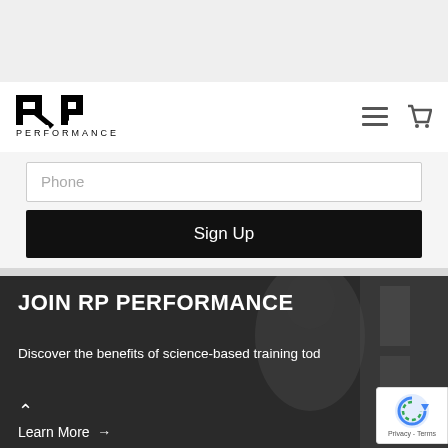[Figure (logo): RP Performance logo with stylized R and P arrows and 'PERFORMANCE' text below]
Phone
Sign Up
JOIN RP PERFORMANCE
Discover the benefits of science-based training today
Learn More →